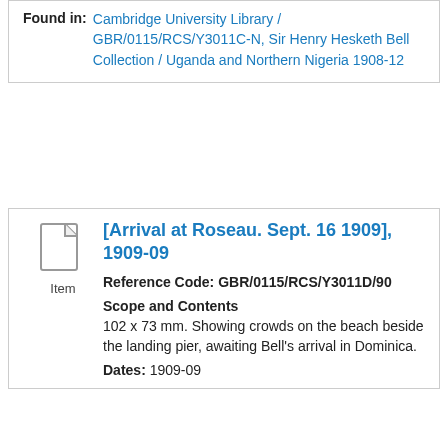Found in: Cambridge University Library / GBR/0115/RCS/Y3011C-N, Sir Henry Hesketh Bell Collection / Uganda and Northern Nigeria 1908-12
[Arrival at Roseau. Sept. 16 1909], 1909-09
Reference Code: GBR/0115/RCS/Y3011D/90
Scope and Contents
102 x 73 mm. Showing crowds on the beach beside the landing pier, awaiting Bell's arrival in Dominica.
Dates: 1909-09